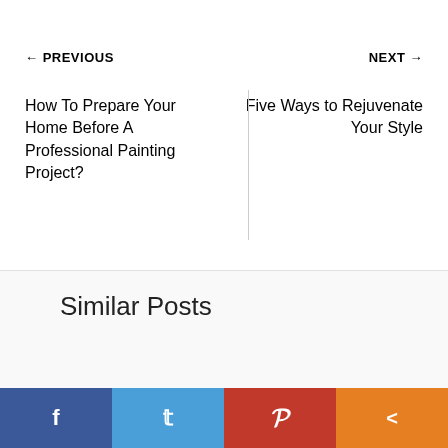← PREVIOUS
How To Prepare Your Home Before A Professional Painting Project?
NEXT →
Five Ways to Rejuvenate Your Style
Similar Posts
[Figure (photo): Partial image of a painted surface with warm peach/beige tones]
[Figure (infographic): Social share bar with Facebook, Twitter, Pinterest, and generic share buttons]